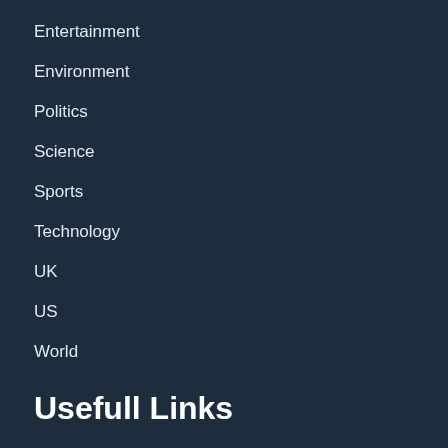Entertainment
Environment
Politics
Science
Sports
Technology
UK
US
World
Usefull Links
Contact us
About us